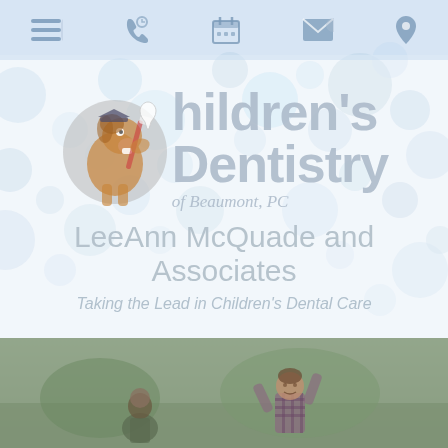Navigation bar with menu, phone, calendar, email, and location icons
[Figure (logo): Children's Dentistry of Beaumont, PC logo with cartoon horse mascot holding a toothbrush on a circular grey background, next to text reading Children's Dentistry of Beaumont, PC]
LeeAnn McQuade and Associates
Taking the Lead in Children's Dental Care
[Figure (photo): Photo strip at bottom showing children outdoors, one child with arms raised wearing a plaid shirt]